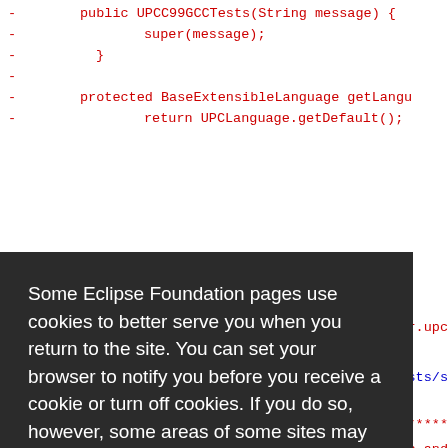[Figure (screenshot): Code editor showing Java source lines with red deleted lines (minus signs), including methods like UPCC99GCCTests(String message), super(message), closing braces, protected BaseExtensibleLanguage getLang..., return UPCLanguage.getDefault();, and partial code fragments visible on the right side, plus Contributors comment at the bottom. An overlay cookie consent dialog covers the center-left portion.]
Some Eclipse Foundation pages use cookies to better serve you when you return to the site. You can set your browser to notify you before you receive a cookie or turn off cookies. If you do so, however, some areas of some sites may not function properly. To read Eclipse Foundation Privacy Policy click here.
Decline
Allow cookies